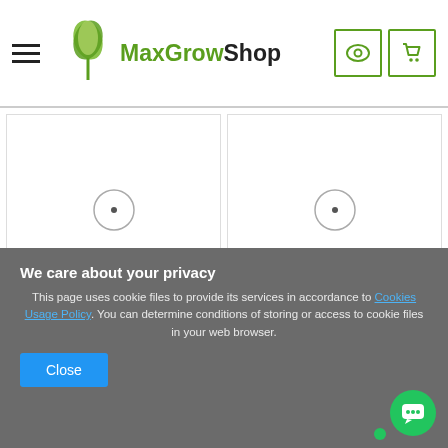[Figure (logo): MaxGrowShop logo with green leaf icon and bold text]
[Figure (photo): Product image placeholder for Advanced Nutrients Bloom 10L with circular icon]
Advanced Nutrients Bloom 10L
45,68 EUR
50,75 EUR (strikethrough)
[Figure (photo): Product image placeholder for Sensi Grow COCO A&B 4L with circular icon]
Sensi Grow COCO A&B 4L
53,82 EUR
59,80 EUR (strikethrough)
We care about your privacy
This page uses cookie files to provide its services in accordance to Cookies Usage Policy. You can determine conditions of storing or access to cookie files in your web browser.
Close